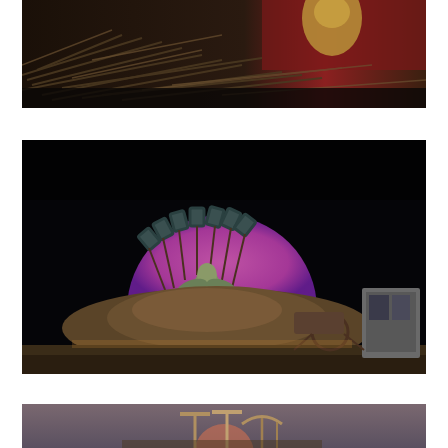[Figure (photo): Dark industrial scene showing a pile of scattered metal rods and debris with a golden/bronze sculptural figure in the background against a reddish backdrop.]
[Figure (photo): Dark theatrical scene with a bronze/green sculptural figure (cherub or angel) atop a mound of dirt/gravel, surrounded by shovels arranged in a semicircle with a pink/purple circular backdrop. A utility box and wheelbarrow visible to the right.]
[Figure (photo): Partial view of a gray/mauve backdrop scene with metal sculptural elements including what appear to be nails or tools arranged artistically on a surface.]